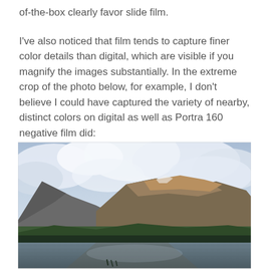of-the-box clearly favor slide film.
I've also noticed that film tends to capture finer color details than digital, which are visible if you magnify the images substantially. In the extreme crop of the photo below, for example, I don't believe I could have captured the variety of nearby, distinct colors on digital as well as Portra 160 negative film did:
[Figure (photo): Mountain landscape with clouds reflected in a still lake in the foreground; rocky peaks partially obscured by clouds, green slopes, taken on Portra 160 negative film.]